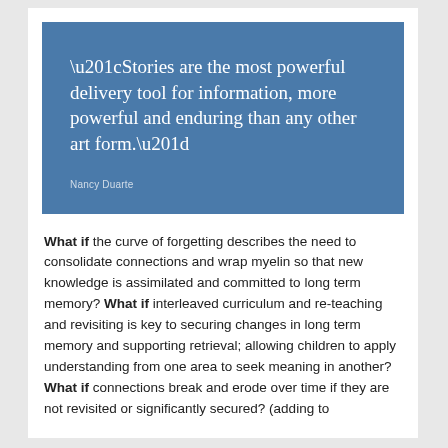[Figure (other): Blue quote box with white serif text: “Stories are the most powerful delivery tool for information, more powerful and enduring than any other art form.” attributed to Nancy Duarte]
What if the curve of forgetting describes the need to consolidate connections and wrap myelin so that new knowledge is assimilated and committed to long term memory? What if interleaved curriculum and re-teaching and revisiting is key to securing changes in long term memory and supporting retrieval; allowing children to apply understanding from one area to seek meaning in another? What if connections break and erode over time if they are not revisited or significantly secured? (adding to